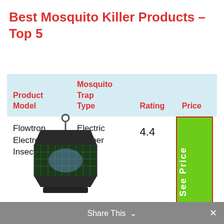Best Mosquito Killer Products – Top 5
| Product Model | Mosquito Trap Type | Rating | Price |
| --- | --- | --- | --- |
| Flowtron Electronic Insect Killer | Electric Zapper | 4.4 | See Price |
[Figure (photo): Flowtron Electronic Insect Killer bug zapper device, black lantern-style with wire grid cage]
Share This ∨ ×